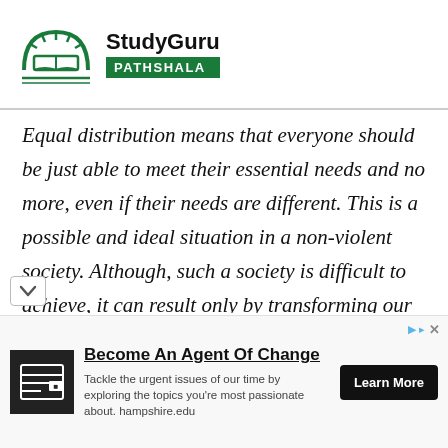[Figure (logo): StudyGuru Pathshala logo: green semicircle with sun/book icon, bold 'StudyGuru' text, green 'PATHSHALA' badge]
Equal distribution means that everyone should be just able to meet their essential needs and no more, even if their needs are different. This is a possible and ideal situation in a non-violent society. Although, such a society is difficult to achieve, it can result only by transforming our social structures, relations, values and practices. Waiting for others to start before us is a pre-requisite. If one of us changes his behaviour,
[Figure (screenshot): Advertisement banner: Hampshire.edu 'Become An Agent Of Change' ad with institution icon, description text, and Learn More button]